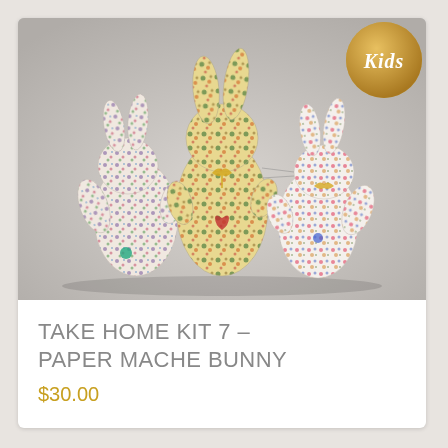[Figure (photo): Three decorative paper mache bunny figures covered in colorful floral fabric/paper patterns, standing together against a light grey background. A gold circular badge with 'Kids' written in white script is visible in the top right corner.]
TAKE HOME KIT 7 – PAPER MACHE BUNNY
$30.00